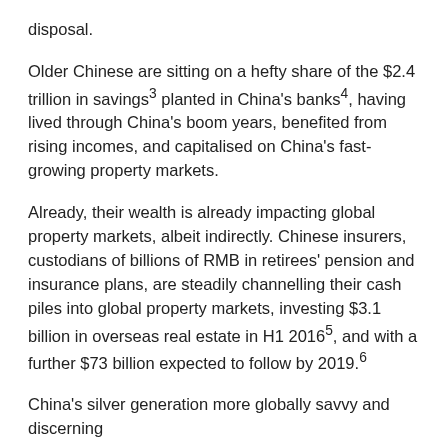disposal.
Older Chinese are sitting on a hefty share of the $2.4 trillion in savings³ planted in China's banks⁴, having lived through China's boom years, benefited from rising incomes, and capitalised on China's fast-growing property markets.
Already, their wealth is already impacting global property markets, albeit indirectly. Chinese insurers, custodians of billions of RMB in retirees' pension and insurance plans, are steadily channelling their cash piles into global property markets, investing $3.1 billion in overseas real estate in H1 2016⁵, and with a further $73 billion expected to follow by 2019.⁶
China's silver generation more globally savvy and discerning